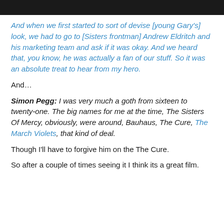[Figure (photo): Dark photo strip at top of page, appears to show people in dim lighting]
And when we first started to sort of devise [young Gary's] look, we had to go to [Sisters frontman] Andrew Eldritch and his marketing team and ask if it was okay. And we heard that, you know, he was actually a fan of our stuff. So it was an absolute treat to hear from my hero.
And…
Simon Pegg: I was very much a goth from sixteen to twenty-one. The big names for me at the time, The Sisters Of Mercy, obviously, were around, Bauhaus, The Cure, The March Violets, that kind of deal.
Though I'll have to forgive him on the The Cure.
So after a couple of times seeing it I think its a great film.